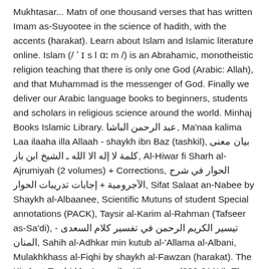Mukhtasar... Matn of one thousand verses that has written Imam as-Suyootee in the science of hadith, with the accents (harakat). Learn about Islam and Islamic literature online. Islam (/ ˈ ɪ s l ɑː m /) is an Abrahamic, monotheistic religion teaching that there is only one God (Arabic: Allah), and that Muhammad is the messenger of God. Finally we deliver our Arabic language books to beginners, students and scholars in religious science around the world. Minhaj Books Islamic Library. عبد الرحمن الباشا, Ma'naa kalima Laa ilaaha illa Allaah - shaykh ibn Baz (tashkil), بيان معنى كلمة لا إله الا الله ـ الشيخ ابن باز, Al-Hiwar fi Sharh al-Ajrumiyah (2 volumes) + Corrections, الحوار في شرح الآجرومية + إجابات تدريبات الحوار, Sifat Salaat an-Nabee by Shaykh al-Albaanee, Scientific Mutuns of student Special annotations (PACK), Taysir al-Karim al-Rahman (Tafseer as-Sa'di), تيسير الكريم الرحمن في تفسير كلام السعدى - المنان, Sahih al-Adhkar min kutub al-'Allama al-Albani, Mulakhkhass al-Fiqhi by shaykh al-Fawzan (harakat). The Kitab at-Tawhid by Imam ibn Khuzayma (223-311H). The Princeton Digital Library of Islamic Manuscripts offers a selection of some